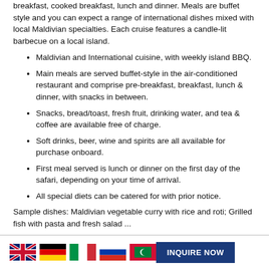breakfast, cooked breakfast, lunch and dinner. Meals are buffet style and you can expect a range of international dishes mixed with local Maldivian specialties. Each cruise features a candle-lit barbecue on a local island.
Maldivian and International cuisine, with weekly island BBQ.
Main meals are served buffet-style in the air-conditioned restaurant and comprise pre-breakfast, breakfast, lunch & dinner, with snacks in between.
Snacks, bread/toast, fresh fruit, drinking water, and tea & coffee are available free of charge.
Soft drinks, beer, wine and spirits are all available for purchase onboard.
First meal served is lunch or dinner on the first day of the safari, depending on your time of arrival.
All special diets can be catered for with prior notice.
Sample dishes: Maldivian vegetable curry with rice and roti; Grilled fish with pasta and fresh salad ...
[Figure (illustration): Row of five country flags: UK, Germany, Italy, Russia, Maldives]
INQUIRE NOW